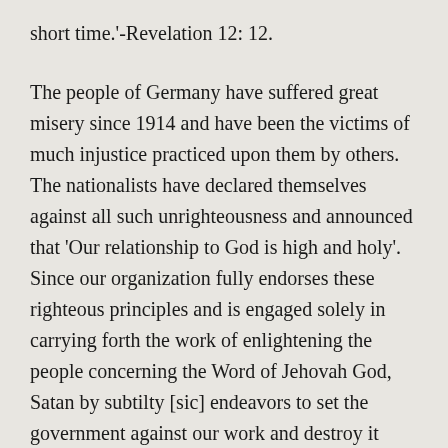short time.'-Revelation 12: 12.
The people of Germany have suffered great misery since 1914 and have been the victims of much injustice practiced upon them by others. The nationalists have declared themselves against all such unrighteousness and announced that 'Our relationship to God is high and holy'. Since our organization fully endorses these righteous principles and is engaged solely in carrying forth the work of enlightening the people concerning the Word of Jehovah God, Satan by subtilty [sic] endeavors to set the government against our work and destroy it because we magnify the importance of knowing and serving God. Instead of our organization's being a menace to the peace and safety of the government, it is the one organization standing for the peace and safety of this land. We beg to remind all that the great crisis is upon the world